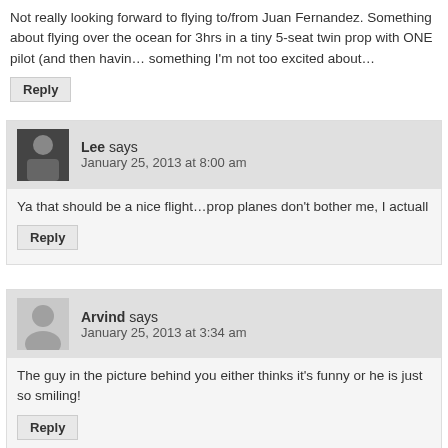Not really looking forward to flying to/from Juan Fernandez. Something about flying over the ocean for 3hrs in a tiny 5-seat twin prop with ONE pilot (and then having to do it again) is something I'm not too excited about…
Reply
Lee says
January 25, 2013 at 8:00 am
Ya that should be a nice flight…prop planes don't bother me, I actuall
Reply
Arvind says
January 25, 2013 at 3:34 am
The guy in the picture behind you either thinks it's funny or he is just so smiling!
Reply